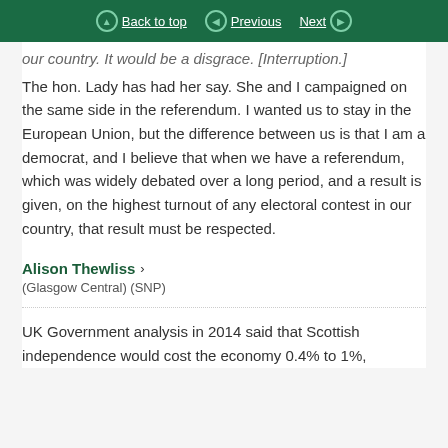Back to top | Previous | Next
our country. It would be a disgrace. [Interruption.] The hon. Lady has had her say. She and I campaigned on the same side in the referendum. I wanted us to stay in the European Union, but the difference between us is that I am a democrat, and I believe that when we have a referendum, which was widely debated over a long period, and a result is given, on the highest turnout of any electoral contest in our country, that result must be respected.
Alison Thewliss ›
(Glasgow Central) (SNP)
UK Government analysis in 2014 said that Scottish independence would cost the economy 0.4% to 1%.